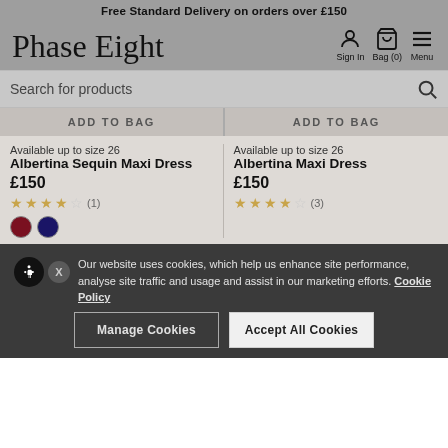Free Standard Delivery on orders over £150
[Figure (logo): Phase Eight cursive logo]
[Figure (infographic): Navigation icons: Sign In, Bag (0), Menu]
Search for products
ADD TO BAG
ADD TO BAG
Available up to size 26
Albertina Sequin Maxi Dress
£150
★★★★☆ (1)
Available up to size 26
Albertina Maxi Dress
£150
★★★★☆ (3)
Our website uses cookies, which help us enhance site performance, analyse site traffic and usage and assist in our marketing efforts. Cookie Policy
Manage Cookies
Accept All Cookies